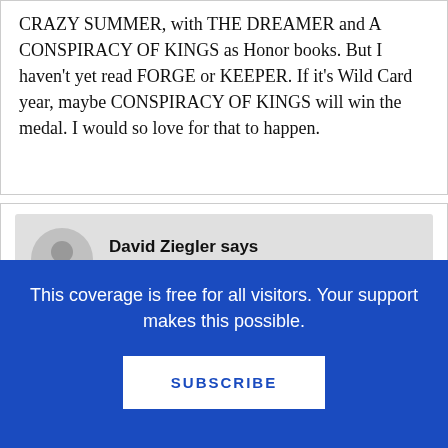CRAZY SUMMER, with THE DREAMER and A CONSPIRACY OF KINGS as Honor books. But I haven't yet read FORGE or KEEPER. If it's Wild Card year, maybe CONSPIRACY OF KINGS will win the medal. I would so love for that to happen.
David Ziegler says
December 30, 2010 at 6:09 am
Some solid predictions. I certainly am rooting for A Sick Day for Amos McGee and Chalk,
This coverage is free for all visitors. Your support makes this possible.
SUBSCRIBE